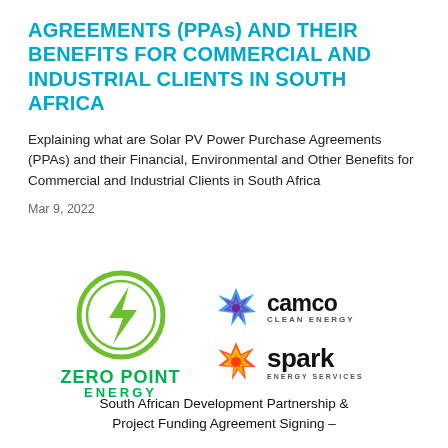AGREEMENTS (PPAS) AND THEIR BENEFITS FOR COMMERCIAL AND INDUSTRIAL CLIENTS IN SOUTH AFRICA
Explaining what are Solar PV Power Purchase Agreements (PPAs) and their Financial, Environmental and Other Benefits for Commercial and Industrial Clients in South Africa
Mar 9, 2022
[Figure (logo): Four company logos: Zero Point Energy (green circle with lightning bolt), Camco Clean Energy (colorful star/snowflake), Spark Energy Services (orange/red star), arranged in a 2x2 grid]
South African Development Partnership & Project Funding Agreement Signing –